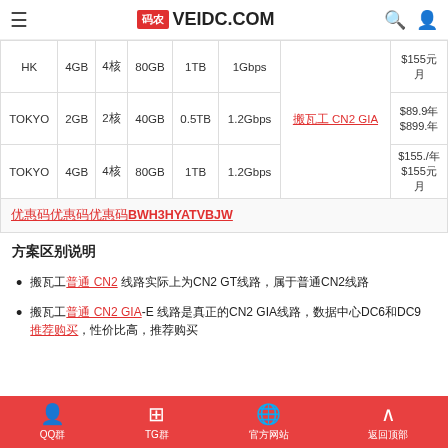VEIDC.COM
|  | RAM | CPU | Storage | Traffic | Speed | Type | Price |
| --- | --- | --- | --- | --- | --- | --- | --- |
| HK | 4GB | 4核 | 80GB | 1TB | 1Gbps |  | $155元/月 |
| TOKYO | 2GB | 2核 | 40GB | 0.5TB | 1.2Gbps | 搬瓦工 CN2 GIA | $89.9年/$899.年 |
| TOKYO | 4GB | 4核 | 80GB | 1TB | 1.2Gbps |  | $155./年$155元/月 |
优惠码BWH3HYATVBJW
方案区别说明
搬瓦工 CN2 线路实际上为CN2 GT线路，属于普通CN2线路
搬瓦工 CN2 GIA-E 线路是真正的CN2 GIA线路，数据中心DC6和DC9，推荐购买，性价比高
QQ群 TG群 官方网站 返回顶部